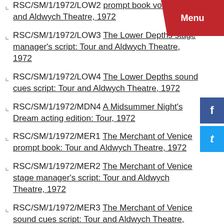RSC/SM/1/1972/LOW3 The Lower Depths stage manager's script: Tour and Aldwych Theatre, 1972
RSC/SM/1/1972/LOW4 The Lower Depths sound cues script: Tour and Aldwych Theatre, 1972
RSC/SM/1/1972/MDN4 A Midsummer Night's Dream acting edition: Tour, 1972
RSC/SM/1/1972/MER1 The Merchant of Venice prompt book: Tour and Aldwych Theatre, 1972
RSC/SM/1/1972/MER2 The Merchant of Venice stage manager's script: Tour and Aldwych Theatre, 1972
RSC/SM/1/1972/MER3 The Merchant of Venice sound cues script: Tour and Aldwych Theatre, 1972
RSC/SM/1/1972/MND1 A Midsummer Night's Dream prompt book: Tour, 1972
RSC/SM/1/1972/MND2 A Midsummer Night's...